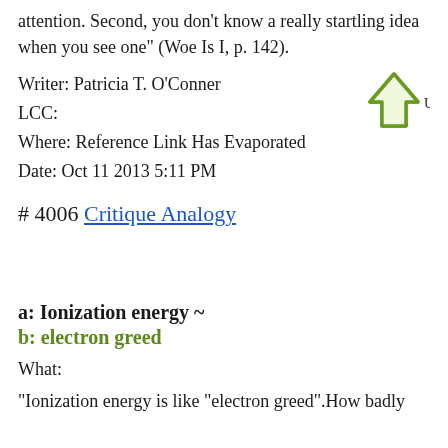attention. Second, you don't know a really startling idea when you see one" (Woe Is I, p. 142).
Writer: Patricia T. O'Conner
LCC:
Where: Reference Link Has Evaporated
Date: Oct 11 2013 5:11 PM
[Figure (other): Green upward-pointing arrow/thumb icon with text 'Useful?']
# 4006 Critique Analogy
a: Ionization energy ~
b: electron greed
What:
"Ionization energy is like "electron greed".How badly